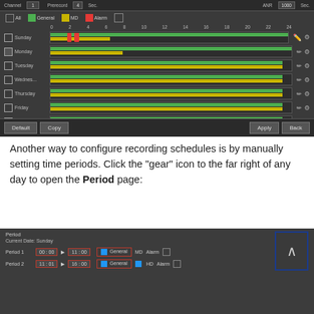[Figure (screenshot): DVR recording schedule configuration screen showing a weekly schedule with colored bars for General (green), MD (yellow), and Alarm (red) recording types across days Sunday through Saturday, with Default, Copy, Apply, and Back buttons at the bottom.]
Another way to configure recording schedules is by manually setting time periods. Click the "gear" icon to the far right of any day to open the Period page:
[Figure (screenshot): Period configuration dialog showing Current Date: Sunday, with Period 1 (00:00 to 11:00, General checked) and Period 2 (11:01 to 16:00, General and MD checked), plus an up-arrow navigation button in the top right corner.]